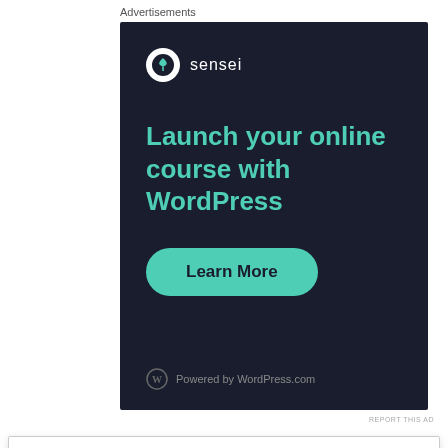Advertisements
[Figure (illustration): Sensei advertisement banner with dark background. Shows Sensei logo (tree icon in white circle) and 'sensei' brand name. Large teal text reads 'Launch your online course with WordPress'. Teal rounded button reads 'Learn More'. Bottom shows WordPress.com logo and 'Powered by WordPress.com' text.]
REPORT THIS AD
Privacy & Cookies: This site uses cookies. By continuing to use this website, you agree to their use.
To find out more, including how to control cookies, see here: Cookie Policy
Close and accept
Excellent. I quote from your article